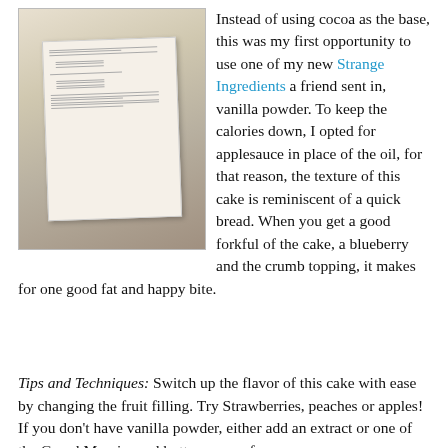[Figure (photo): A photograph of a recipe card or cookbook page, slightly angled, showing handwritten or printed recipe text with ingredient measurements, placed on a striped surface.]
Instead of using cocoa as the base, this was my first opportunity to use one of my new Strange Ingredients a friend sent in, vanilla powder. To keep the calories down, I opted for applesauce in place of the oil, for that reason, the texture of this cake is reminiscent of a quick bread. When you get a good forkful of the cake, a blueberry and the crumb topping, it makes for one good fat and happy bite.
Tips and Techniques: Switch up the flavor of this cake with ease by changing the fruit filling. Try Strawberries, peaches or apples! If you don't have vanilla powder, either add an extract or one of the Grand Marnier and butter sauce of